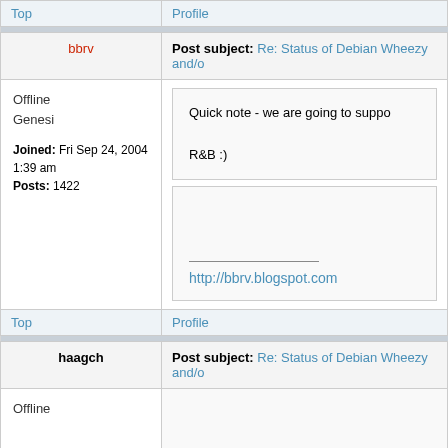Top
Profile
bbrv
Post subject: Re: Status of Debian Wheezy and/o
Offline
Genesi
Joined: Fri Sep 24, 2004 1:39 am
Posts: 1422
Quick note - we are going to suppo
R&B :)
http://bbrv.blogspot.com
Top
Profile
haagch
Post subject: Re: Status of Debian Wheezy and/o
Offline